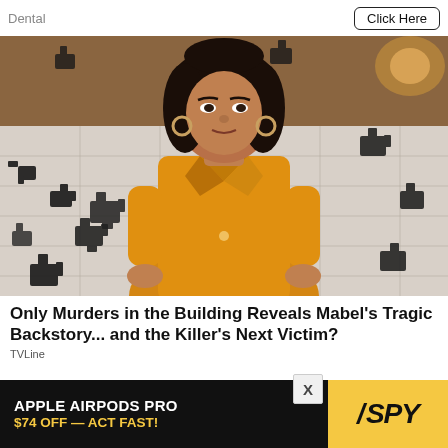Dental
Click Here
[Figure (photo): Woman in orange/yellow short-sleeve collared shirt sitting in front of a white quilted surface with black puzzle pieces. She has dark hair, hoop earrings, and looks upward with a serious expression.]
Only Murders in the Building Reveals Mabel's Tragic Backstory... and the Killer's Next Victim?
TVLine
[Figure (advertisement): Apple AirPods Pro $74 OFF — ACT FAST! advertisement banner with SPY logo on yellow background]